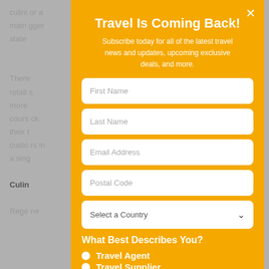culini... or a main ... gger state...
There... rotati... s more... cours... ck their t... custo... rs in a sing...
Culin...
Rege... ne
Travel Is Coming Back!
Subscribe today for all of the latest travel news and updates, upcoming exclusive deals, and more.
First Name
Last Name
Email Address
Postal Code
Select a Country
What Best Describes You?
Travel Agent
Travel Supplier
Traveler